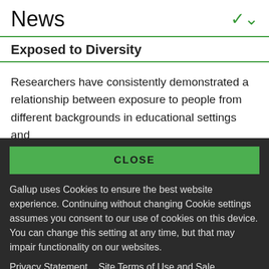News
Exposed to Diversity
Researchers have consistently demonstrated a relationship between exposure to people from different backgrounds in educational settings and
CLOSE
Gallup uses Cookies to ensure the best website experience. Continuing without changing Cookie settings assumes you consent to our use of cookies on this device. You can change this setting at any time, but that may impair functionality on our websites.
Privacy Statement   Site Terms of Use and Sale
Product Terms of Use   Adjust your cookie settings.